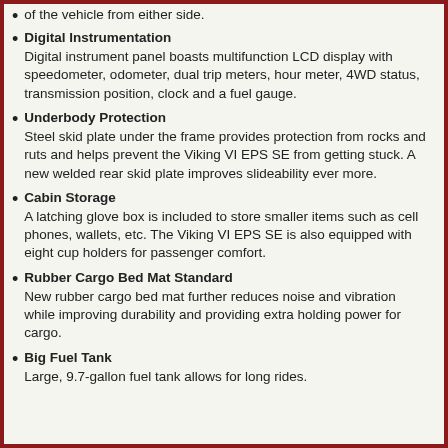of the vehicle from either side.
Digital Instrumentation
Digital instrument panel boasts multifunction LCD display with speedometer, odometer, dual trip meters, hour meter, 4WD status, transmission position, clock and a fuel gauge.
Underbody Protection
Steel skid plate under the frame provides protection from rocks and ruts and helps prevent the Viking VI EPS SE from getting stuck. A new welded rear skid plate improves slideability ever more.
Cabin Storage
A latching glove box is included to store smaller items such as cell phones, wallets, etc. The Viking VI EPS SE is also equipped with eight cup holders for passenger comfort.
Rubber Cargo Bed Mat Standard
New rubber cargo bed mat further reduces noise and vibration while improving durability and providing extra holding power for cargo.
Big Fuel Tank
Large, 9.7-gallon fuel tank allows for long rides.